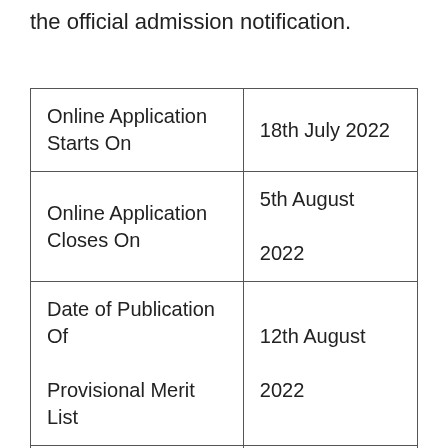the official admission notification.
| Online Application Starts On | 18th July 2022 |
| Online Application Closes On | 5th August 2022 |
| Date of Publication Of Provisional Merit List | 12th August 2022 |
| First Admission Call List | 16th August 2022 |
| 1st Phase of Admission (As cont) | 17 to 18 Aug 2022 |